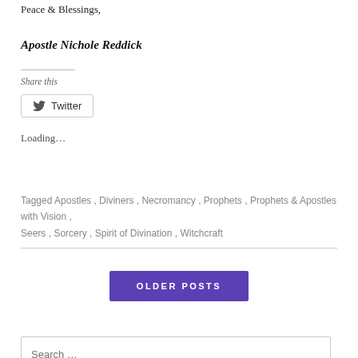Peace & Blessings,
Apostle Nichole Reddick
Share this
[Figure (other): Twitter share button with bird icon and text 'Twitter']
Loading...
Tagged Apostles, Diviners, Necromancy, Prophets, Prophets & Apostles with Vision, Seers, Sorcery, Spirit of Divination, Witchcraft
OLDER POSTS
Search ...